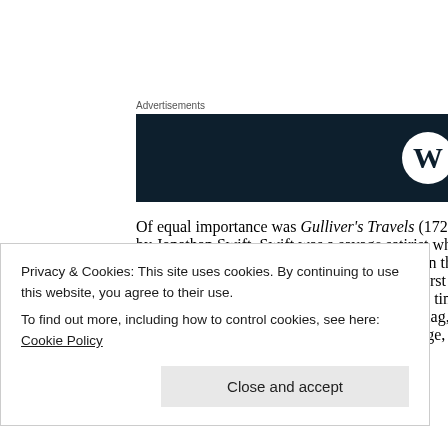[Figure (logo): Advertisement banner with dark navy background and WordPress logo (W in circle) on the right side]
Of equal importance was Gulliver's Travels (1726) by Jonathan Swift. Swift was a savage satirist who turned his fire upon a wide variety of targets in this book. It is now, perhaps, best known for the first two voyages in which Gulliver encounters the tiny people of Lilliput and the giants of Brobdingnag, though in science fiction terms the third voyage, which
Privacy & Cookies: This site uses cookies. By continuing to use this website, you agree to their use.
To find out more, including how to control cookies, see here: Cookie Policy
Close and accept